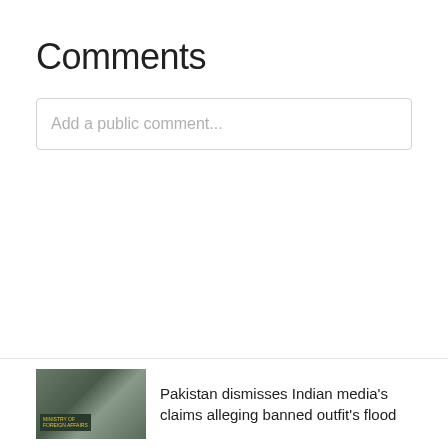Comments
Add a public comment...
[Figure (photo): Thumbnail image of a building with a sign reading 'MINISTRY OF FOREIGN AFFAIRS']
Pakistan dismisses Indian media's claims alleging banned outfit's flood